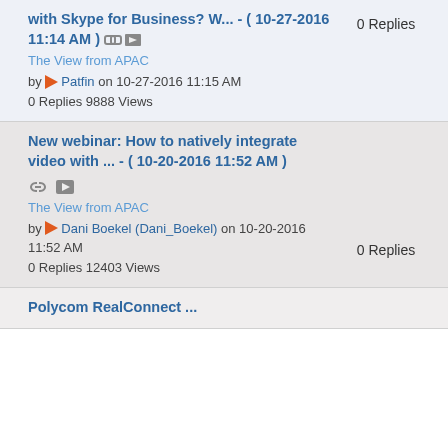with Skype for Business? W... - ( 10-27-2016 11:14 AM ) [link] [img] The View from APAC | 0 Replies | by Patfin on 10-27-2016 11:15 AM | 0 Replies 9888 Views
New webinar: How to natively integrate video with ... - ( 10-20-2016 11:52 AM ) [link] [img] The View from APAC | 0 Replies | by Dani Boekel (Dani_Boekel) on 10-20-2016 11:52 AM | 0 Replies 12403 Views
Polycom RealConnect ...